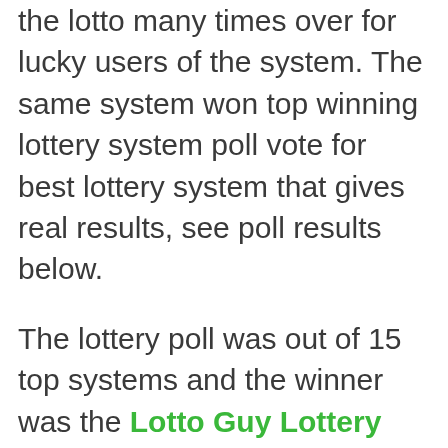the lotto many times over for lucky users of the system. The same system won top winning lottery system poll vote for best lottery system that gives real results, see poll results below.

The lottery poll was out of 15 top systems and the winner was the Lotto Guy Lottery System with 83% of the votes, so you now have solid proof that others actually win using this system and there are No affiliates selling this rock solid winning system why? The sellers/developers are for real and use their own system to win lotteries. The same seller/developers off the Lotto Guy